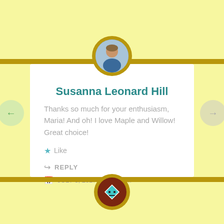[Figure (illustration): Comment card UI with yellow background, gold horizontal bars, circular avatar photo at top, commenter name, comment text, like/reply/date actions, and a badge icon at bottom. Left and right navigation arrows on sides.]
Susanna Leonard Hill
Thanks so much for your enthusiasm, Maria! And oh! I love Maple and Willow! Great choice!
Like
REPLY
JULY 6, 2017 AT 9:40 PM